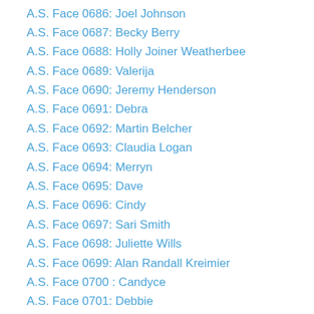A.S. Face 0686: Joel Johnson
A.S. Face 0687: Becky Berry
A.S. Face 0688: Holly Joiner Weatherbee
A.S. Face 0689: Valerija
A.S. Face 0690: Jeremy Henderson
A.S. Face 0691: Debra
A.S. Face 0692: Martin Belcher
A.S. Face 0693: Claudia Logan
A.S. Face 0694: Merryn
A.S. Face 0695: Dave
A.S. Face 0696: Cindy
A.S. Face 0697: Sari Smith
A.S. Face 0698: Juliette Wills
A.S. Face 0699: Alan Randall Kreimier
A.S. Face 0700 : Candyce
A.S. Face 0701: Debbie
A.S. Face 0702: Engku Iskandar Engku Zahit
A.S. Face 0703: Dana R. Spencer
A.S. Face 0704: Karen Holland
A.S. Face 0705: Tanya Richardson